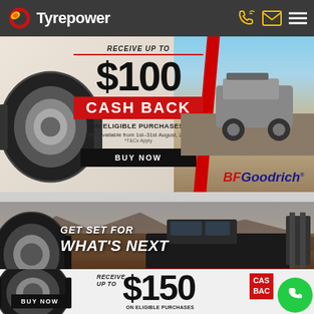[Figure (screenshot): Tyrepower website navigation bar with logo (circular red/gold icon), 'Tyrepower' text in white, phone icon, email icon, and hamburger menu on dark grey background]
[Figure (infographic): BFGoodrich promotional banner: 'RECEIVE UP TO $100 CASH BACK ON ELIGIBLE PURCHASES*' with offer dates 1st-31st August 2022, T&Cs apply, BUY NOW button, tyre image on left, 4WD vehicle on coastal road on right, BFGoodrich logo]
[Figure (infographic): BFGoodrich promotional banner: 'GET SET FOR WHAT'S NEXT' with truck on off-road terrain, tyre image, BFGoodrich logo]
[Figure (infographic): BFGoodrich promotional banner partial view: 'RECEIVE UP TO $150 CASH BACK ON ELIGIBLE PURCHASES', BUY NOW button, tyre image, green phone call button overlay]